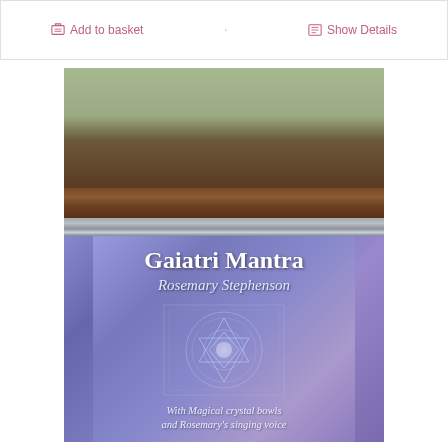[Figure (screenshot): Webpage toolbar with 'Add to basket' and 'Show Details' buttons in pink/mauve color on white background with border]
[Figure (photo): Photograph of a CD/book cover titled 'Gaiatri Mantra' by Rosemary Stephenson, placed on a wooden bench with metal rail. Cover features blue-purple mandala/yantra artwork with text 'With Magical crystal bowls and Rosemary's singing voice']